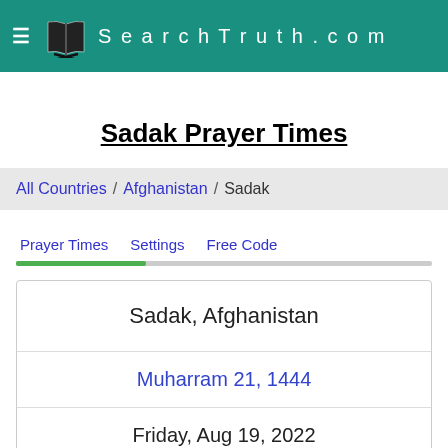SearchTruth.com
Sadak Prayer Times
All Countries / Afghanistan / Sadak
Prayer Times   Settings   Free Code
| Sadak, Afghanistan |
| Muharram 21, 1444 |
| Friday, Aug 19, 2022 |